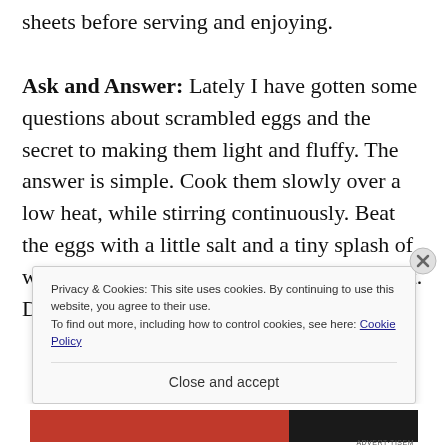sheets before serving and enjoying.
Ask and Answer: Lately I have gotten some questions about scrambled eggs and the secret to making them light and fluffy. The answer is simple. Cook them slowly over a low heat, while stirring continuously. Beat the eggs with a little salt and a tiny splash of water before adding to your preheated skillet. Drop little cubes of butter i[nto the eggs as they cook]
Privacy & Cookies: This site uses cookies. By continuing to use this website, you agree to their use.
To find out more, including how to control cookies, see here: Cookie Policy
Close and accept